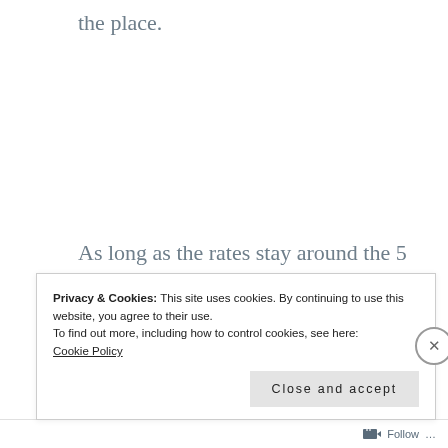the place.
As long as the rates stay around the 5 percent where they’re at, the real estate market will remain in a good shape for the year. Mortgage rates may increase if
Privacy & Cookies: This site uses cookies. By continuing to use this website, you agree to their use.
To find out more, including how to control cookies, see here: Cookie Policy
Close and accept
Follow ...